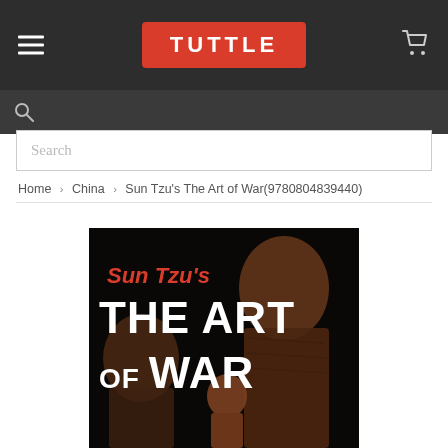TUTTLE
Search
Home > China > Sun Tzu's The Art of War(9780804839440)
[Figure (photo): Book cover of Sun Tzu's The Art of War published by Tuttle, featuring terracotta warriors on a dark background with red and white text]